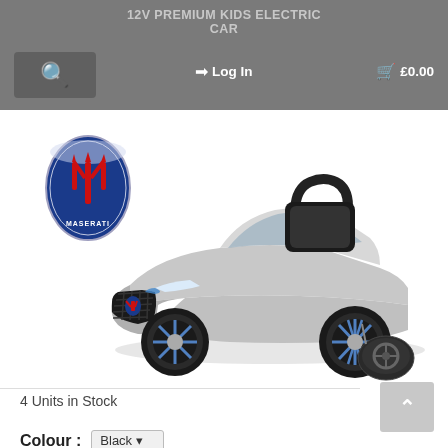12V PREMIUM KIDS ELECTRIC CAR
Log In   £0.00
[Figure (photo): Maserati-branded children's electric ride-on car in silver with a Maserati logo in the upper left, shown with a remote control. The car is a scale model of a Maserati sports car with chrome wheels and a roll bar.]
4 Units in Stock
Colour :   Black